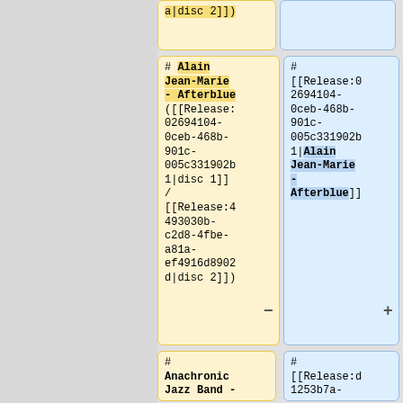a|disc 2]])
# Alain Jean-Marie - Afterblue ([[Release:02694104-0ceb-468b-901c-005c331902b1|disc 1]] / [[Release:4493030b-c2d8-4fbe-a81a-ef4916d8902d|disc 2]])
# [[Release:02694104-0ceb-468b-901c-005c331902b1|Alain Jean-Marie - Afterblue]]
# Anachronic Jazz Band -
# [[Release:d1253b7a-